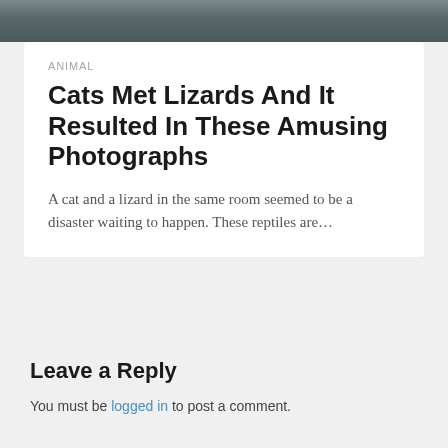[Figure (photo): Partial photo of a cat with grey fur, cropped at top of page]
ANIMAL
Cats Met Lizards And It Resulted In These Amusing Photographs
A cat and a lizard in the same room seemed to be a disaster waiting to happen. These reptiles are…
Leave a Reply
You must be logged in to post a comment.